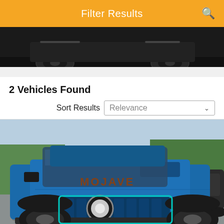Filter Results
[Figure (photo): Partial view of a dark vehicle's wheels/undercarriage against dark background]
2 Vehicles Found
Sort Results  Relevance
[Figure (photo): Blue Jeep Gladiator Mojave parked in a dealership lot, front 3/4 view]